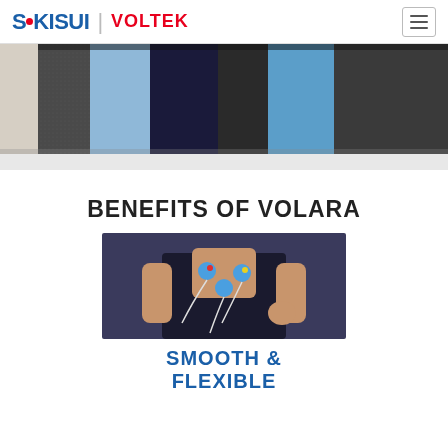SEKISUI | VOLTEK
[Figure (photo): A horizontal strip showing multiple foam material samples in various colors: beige/cream, dark gray, light blue, very dark navy with sparkle, dark charcoal, light blue, dark gray texture — product color swatches for Volara foam.]
BENEFITS OF VOLARA
[Figure (photo): Close-up photo of a person wearing a dark tank top and running, with medical/sports electrode sensors attached to their chest connected by white wires — illustrating smooth and flexible material application.]
SMOOTH & FLEXIBLE